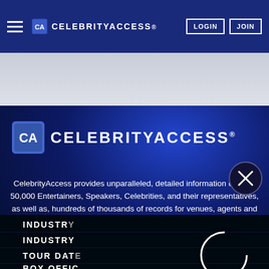CELEBRITYACCESS® — LOGIN | JOIN
[Figure (logo): CelebrityAccess logo with icon and text in navigation bar]
[Figure (logo): Large CelebrityAccess logo with icon and bold text on blue background]
CelebrityAccess provides unparalleled, detailed information on over 50,000 Entertainers, Speakers, Celebrities, and their representatives, as well as, hundreds of thousands of records for venues, agents and managers
INDUSTR
INDUSTRY
TOUR DAT
BOX OFFIC
NEW ARTIST